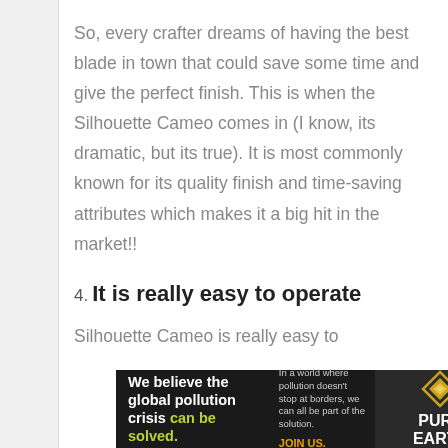So, every crafter dreams of having the best blade in town that could save some time and give the perfect finish. This is when the Silhouette Cameo comes in (I know, its dramatic, but its true). It is most commonly known for its quality finish and time-saving attributes which makes it a big hit in the market!!
4. It is really easy to operate
Silhouette Cameo is really easy to
[Figure (infographic): Advertisement banner for Pure Earth organization. Left side dark background with text 'We believe the global pollution crisis can be solved.' in white and green. Middle section with text 'In a world where pollution doesn't stop at borders, we can all be part of the solution. JOIN US.' Right side shows Pure Earth logo with diamond/chevron icon and 'PURE EARTH' text.]